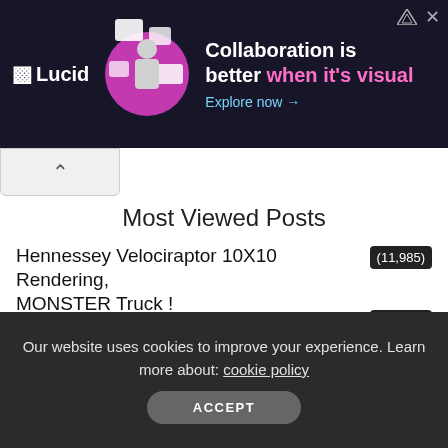[Figure (screenshot): Lucid advertisement banner with dark background. Shows Lucid logo, a person with visual collaboration graphics, and text: 'Collaboration is better when it's visual. Explore now →']
Most Viewed Posts
Hennessey Velociraptor 10X10 Rendering, MONSTER Truck ! (11,985)
2022 Lexus LX600 Ultra Luxury Review (11,637)
Mercedes X-Class 6×6 Crarlex Widebody Kit, EXTREME $1.5M Pickup ! (11,418)
2025 Lancia Ultra Full Black Beast Designed by
Our website uses cookies to improve your experience. Learn more about: cookie policy
ACCEPT